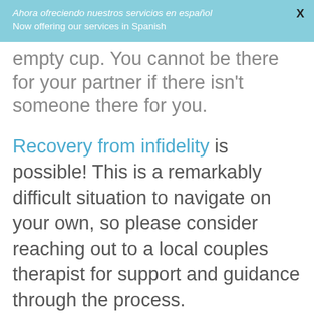Ahora ofreciendo nuestros servicios en español
Now offering our services in Spanish
empty cup.  You cannot be there for your partner if there isn't someone there for you.
Recovery from infidelity is possible!  This is a remarkably difficult situation to navigate on your own, so please consider reaching out to a local couples therapist for support and guidance through the process.